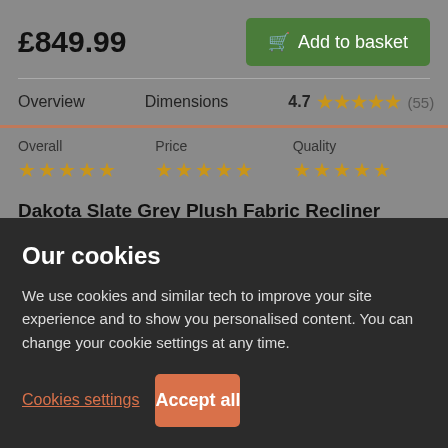£849.99
Add to basket
Overview   Dimensions   4.7 ★★★★★ (55)
Overall ★★★★★   Price ★★★★★   Quality ★★★★★
Dakota Slate Grey Plush Fabric Recliner Armchair
Excellent service. Chairs are very good to look at, are...
Our cookies
We use cookies and similar tech to improve your site experience and to show you personalised content. You can change your cookie settings at any time.
Cookies settings
Accept all